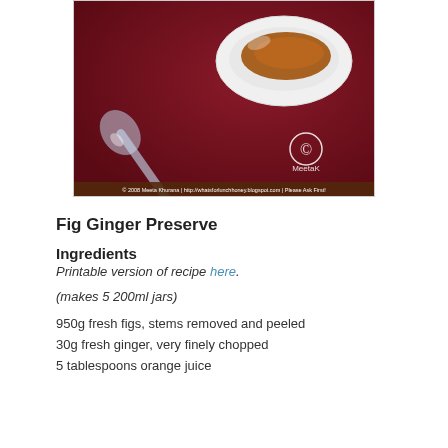[Figure (photo): Photo of fig ginger preserve in a white dish with a clear plastic spoon on a dark red/maroon background. Copyright watermark 'MeetaK' visible. Footer text: '© 2008 Meeta Khurana | http://whatsforlunchhoney.blogspot.com | Please Ask First!']
Fig Ginger Preserve
Ingredients
Printable version of recipe here.
(makes 5 200ml jars)
950g fresh figs, stems removed and peeled
30g fresh ginger, very finely chopped
5 tablespoons orange juice